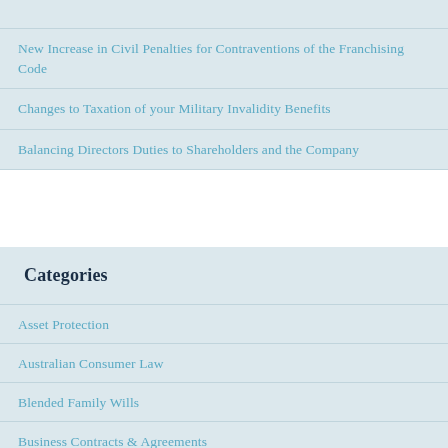New Increase in Civil Penalties for Contraventions of the Franchising Code
Changes to Taxation of your Military Invalidity Benefits
Balancing Directors Duties to Shareholders and the Company
Categories
Asset Protection
Australian Consumer Law
Blended Family Wills
Business Contracts & Agreements